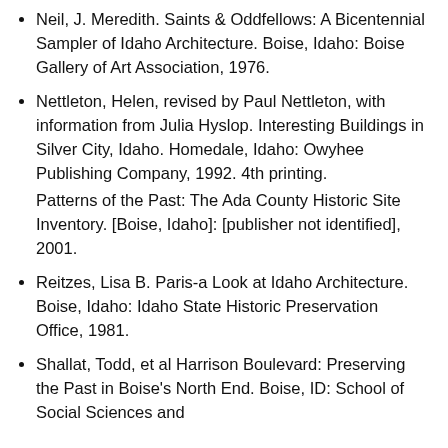Neil, J. Meredith. Saints & Oddfellows: A Bicentennial Sampler of Idaho Architecture. Boise, Idaho: Boise Gallery of Art Association, 1976.
Nettleton, Helen, revised by Paul Nettleton, with information from Julia Hyslop. Interesting Buildings in Silver City, Idaho. Homedale, Idaho: Owyhee Publishing Company, 1992. 4th printing.
Patterns of the Past: The Ada County Historic Site Inventory. [Boise, Idaho]: [publisher not identified], 2001.
Reitzes, Lisa B. Paris-a Look at Idaho Architecture. Boise, Idaho: Idaho State Historic Preservation Office, 1981.
Shallat, Todd, et al Harrison Boulevard: Preserving the Past in Boise's North End. Boise, ID: School of Social Sciences and…